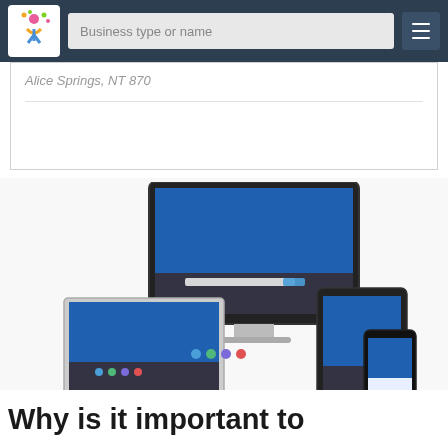[Figure (screenshot): Website navigation bar with colorful logo, 'Business type or name' search input, and hamburger menu button on dark blue background]
Alice Springs, NT 870
[Figure (screenshot): Responsive website mockup showing the same website displayed on desktop monitor, laptop, tablet, and smartphone devices]
Why is it important to